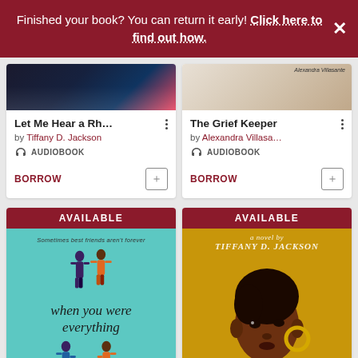Finished your book? You can return it early! Click here to find out how.
[Figure (screenshot): Book card for 'Let Me Hear a Rh...' by Tiffany D. Jackson, Audiobook format, with BORROW button]
[Figure (screenshot): Book card for 'The Grief Keeper' by Alexandra Villasa..., Audiobook format, with BORROW button]
[Figure (illustration): Book cover: 'when you were everything' - teal background with illustrated figures of girls, AVAILABLE banner]
[Figure (illustration): Book cover: 'Grown' by Tiffany D. Jackson - yellow/gold background with portrait illustration of a young Black woman, AVAILABLE banner]